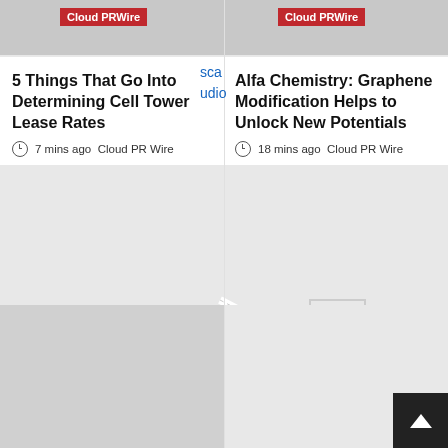[Figure (screenshot): Top left gray image strip with Cloud PRWire red badge]
[Figure (screenshot): Top right gray image strip with Cloud PRWire red badge]
5 Things That Go Into Determining Cell Tower Lease Rates
7 mins ago  Cloud PR Wire
Alfa Chemistry: Graphene Modification Helps to Unlock New Potentials
18 mins ago  Cloud PR Wire
[Figure (photo): Gray placeholder thumbnail image with Cloud PRWire red badge]
[Figure (map): Street map background showing building outlines and Dr road label]
How Regenerative Medicine from QC
[Figure (screenshot): Dark scroll-to-top button with upward arrow]